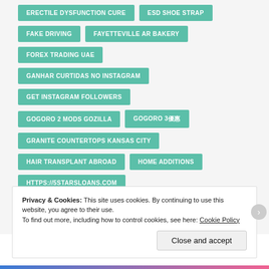ERECTILE DYSFUNCTION CURE
ESD SHOE STRAP
FAKE DRIVING
FAYETTEVILLE AR BAKERY
FOREX TRADING UAE
GANHAR CURTIDAS NO INSTAGRAM
GET INSTAGRAM FOLLOWERS
GOGORO 2 MODS GOZILLA
GOGORO 3優惠
GRANITE COUNTERTOPS KANSAS CITY
HAIR TRANSPLANT ABROAD
HOME ADDITIONS
HTTPS://5STARSLOANS.COM
Privacy & Cookies: This site uses cookies. By continuing to use this website, you agree to their use.
To find out more, including how to control cookies, see here: Cookie Policy
Close and accept